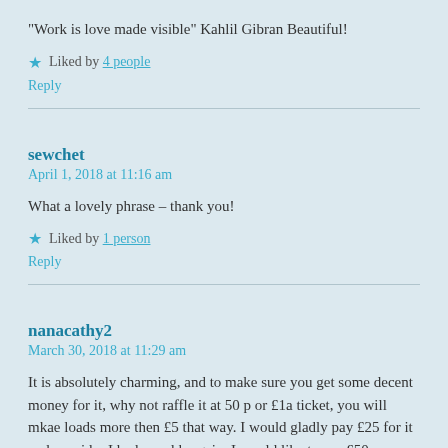“Work is love made visible” Kahlil Gibran Beautiful!
★ Liked by 4 people
Reply
sewchet
April 1, 2018 at 11:16 am
What a lovely phrase – thank you!
★ Liked by 1 person
Reply
nanacathy2
March 30, 2018 at 11:29 am
It is absolutely charming, and to make sure you get some decent money for it, why not raffle it at 50 p or £1a ticket, you will mkae loads more then £5 that way. I would gladly pay £25 for it and consider I had a real bargain. I would like to say £50